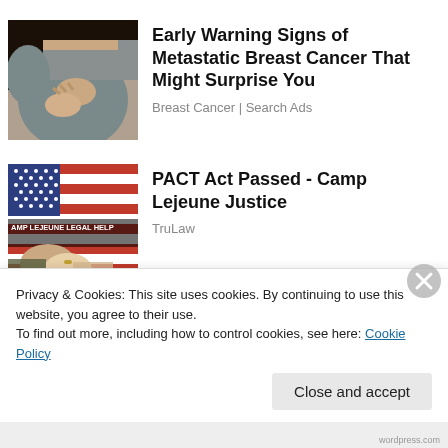[Figure (photo): Woman in grey top holding her chest/breast area with both hands, dark hair]
Early Warning Signs of Metastatic Breast Cancer That Might Surprise You
Breast Cancer | Search Ads
[Figure (photo): American flag background with 'AMP LEJEUNE LEGAL HELP' text overlay, two people shaking hands in military and civilian attire]
PACT Act Passed - Camp Lejeune Justice
TruLaw
Privacy & Cookies: This site uses cookies. By continuing to use this website, you agree to their use.
To find out more, including how to control cookies, see here: Cookie Policy
Close and accept